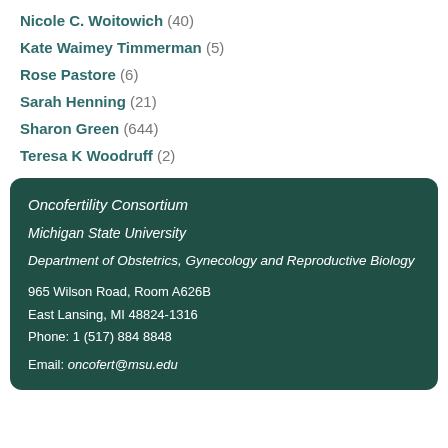Nicole C. Woitowich (40)
Kate Waimey Timmerman (5)
Rose Pastore (6)
Sarah Henning (21)
Sharon Green (644)
Teresa K Woodruff (2)
Oncofertility Consortium
Michigan State University
Department of Obstetrics, Gynecology and Reproductive Biology
965 Wilson Road, Room A626B
East Lansing, MI 48824-1316
Phone: 1 (517) 884 8848
Email: oncofert@msu.edu